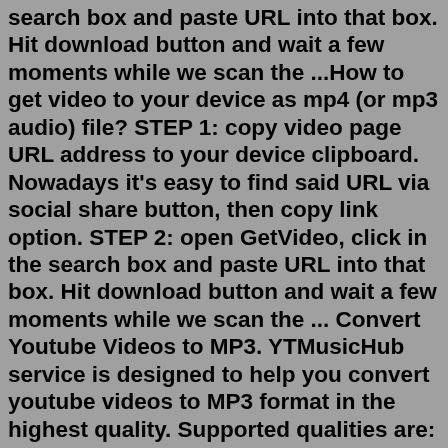search box and paste URL into that box. Hit download button and wait a few moments while we scan the ...How to get video to your device as mp4 (or mp3 audio) file? STEP 1: copy video page URL address to your device clipboard. Nowadays it's easy to find said URL via social share button, then copy link option. STEP 2: open GetVideo, click in the search box and paste URL into that box. Hit download button and wait a few moments while we scan the ... Convert Youtube Videos to MP3. YTMusicHub service is designed to help you convert youtube videos to MP3 format in the highest quality. Supported qualities are: 64kbps, 128kbps, 192kbps, 256kbps and 320kbps.Since many Periscope broadcasts tend to be quite long, this may take several minutes. Broadcasts under 5 minutes, though, should convert fairly quickly. Step 3: Export & download the video Once your video is fully uploaded, make sure you can play it back in the Studio.Download Periscope Player for Windows to stream music from anywhere in the world, from phone Periscope app, go